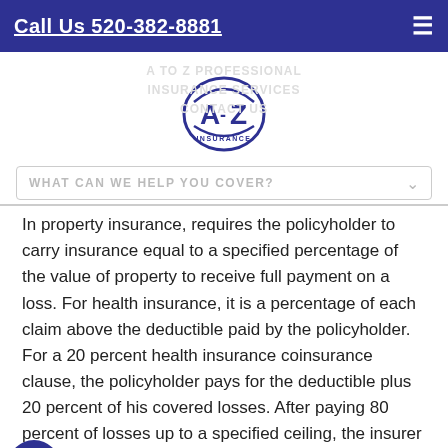Call Us 520-382-8881
[Figure (logo): A-Z Insurance circular logo with stylized A-Z letters and 'INSURANCE' text below]
WHAT CAN WE HELP YOU COVER?
In property insurance, requires the policyholder to carry insurance equal to a specified percentage of the value of property to receive full payment on a loss. For health insurance, it is a percentage of each claim above the deductible paid by the policyholder. For a 20 percent health insurance coinsurance clause, the policyholder pays for the deductible plus 20 percent of his covered losses. After paying 80 percent of losses up to a specified ceiling, the insurer starts paying 100